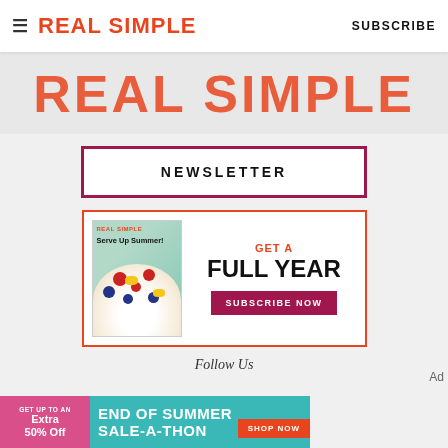REAL SIMPLE | SUBSCRIBE
[Figure (logo): Large REAL SIMPLE logo in orange-red on grey background]
NEWSLETTER
[Figure (infographic): Magazine subscription ad showing Real Simple 'Serve Up Summer' cover with fruit bowl, GET A FULL YEAR text, and SUBSCRIBE NOW button]
Follow Us
[Figure (infographic): End of Summer Sale-A-Thon banner ad: GET UP TO AN EXTRA 50% OFF | END OF SUMMER SALE-A-THON | SHOP NOW]